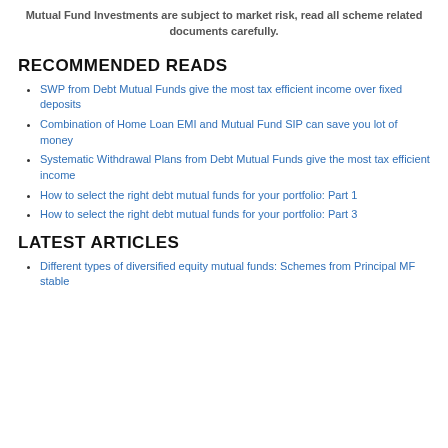Mutual Fund Investments are subject to market risk, read all scheme related documents carefully.
RECOMMENDED READS
SWP from Debt Mutual Funds give the most tax efficient income over fixed deposits
Combination of Home Loan EMI and Mutual Fund SIP can save you lot of money
Systematic Withdrawal Plans from Debt Mutual Funds give the most tax efficient income
How to select the right debt mutual funds for your portfolio: Part 1
How to select the right debt mutual funds for your portfolio: Part 3
LATEST ARTICLES
Different types of diversified equity mutual funds: Schemes from Principal MF stable